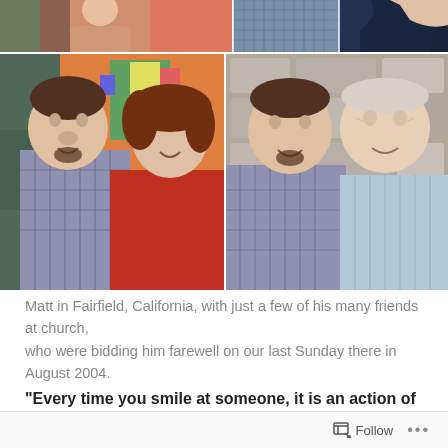[Figure (photo): Collage of photos showing Matt in Fairfield, California with friends at church. Top strip shows partial images of people. Bottom left: young man with goatee in plaid shirt with a woman in red top, colorful bulletin board background. Bottom right: same young man with an older gentleman in light blue shirt, stone wall background.]
Matt in Fairfield, California, with just a few of his many friends at church, who were bidding him farewell on our last Sunday there in August 2004.
“Every time you smile at someone, it is an action of love, a gift to that person, a beautiful thing.” — Mother
Follow ...